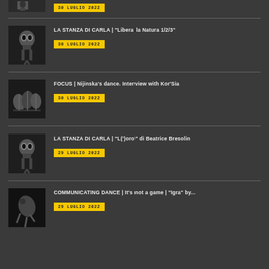[Figure (photo): Black and white photo thumbnail, partially visible at top (cropped)]
30 LUGLIO 2022
[Figure (photo): Black and white photo of animated or puppet figure with large eyes]
LA STANZA DI CARLA | "Libera la Natura 1/2/3"
30 LUGLIO 2022
[Figure (photo): Black and white photo of dancers performing]
FOCUS | Nijinska's dance. Interview with Kor'Sia
30 LUGLIO 2022
[Figure (photo): Black and white photo of animated or puppet figure with large eyes]
LA STANZA DI CARLA | "L(')oro" di Beatrice Bresolin
29 LUGLIO 2022
[Figure (photo): Black and white photo of a dancer or performer on stage]
COMMUNICATING DANCE | It's not a game | "Igra" by...
29 LUGLIO 2022